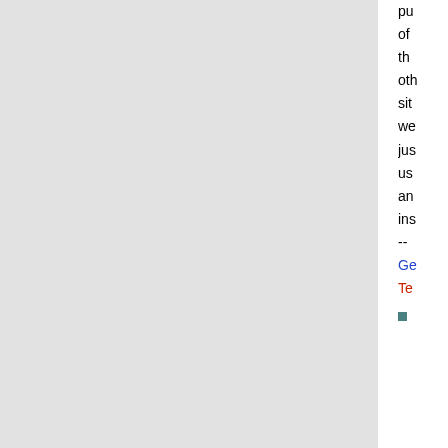of the oth sit we jus us ar ins -- Ge Te